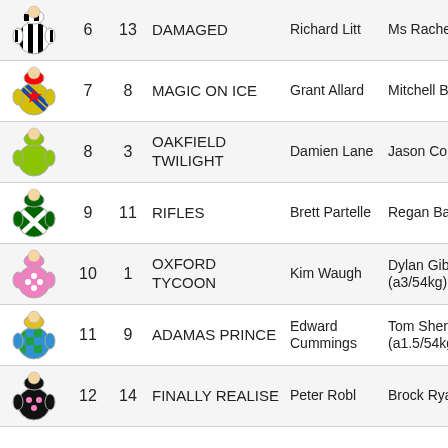| Silks | # | Draw | Horse | Trainer | Jockey |
| --- | --- | --- | --- | --- | --- |
| [silks] | 6 | 13 | DAMAGED | Richard Litt | Ms Rachel King |
| [silks] | 7 | 8 | MAGIC ON ICE | Grant Allard | Mitchell Bell |
| [silks] | 8 | 3 | OAKFIELD TWILIGHT | Damien Lane | Jason Collett |
| [silks] | 9 | 11 | RIFLES | Brett Partelle | Regan Bayliss |
| [silks] | 10 | 1 | OXFORD TYCOON | Kim Waugh | Dylan Gibbons (a3/54kg) |
| [silks] | 11 | 9 | ADAMAS PRINCE | Edward Cummings | Tom Sherry (a1.5/54kg) |
| [silks] | 12 | 14 | FINALLY REALISE | Peter Robl | Brock Ryan |